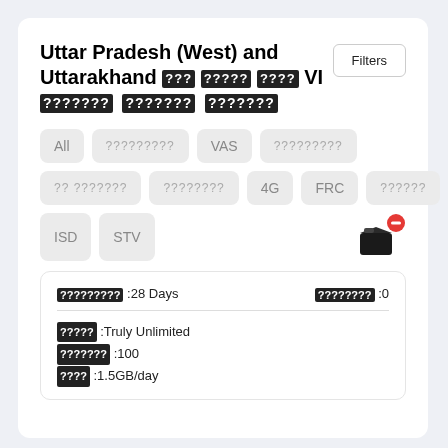Uttar Pradesh (West) and Uttarakhand ??? ????? ???? VI ??????? ??????? ???????
Filters
All
????????? (garbled)
VAS
????????? (garbled)
?? ??????? (garbled)
???????? (garbled)
4G
FRC
?????? (garbled)
ISD
STV
????????? :28 Days   ???????? :0
????? :Truly Unlimited
??????? :100
???? :1.5GB/day